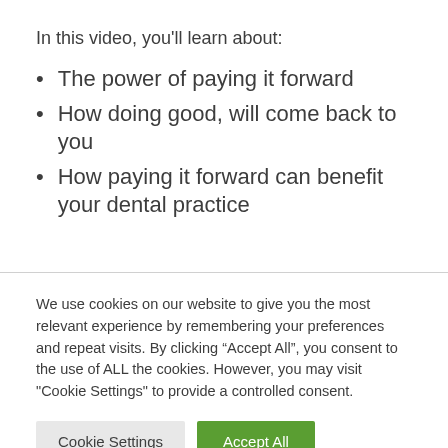In this video, you’ll learn about:
The power of paying it forward
How doing good, will come back to you
How paying it forward can benefit your dental practice
We use cookies on our website to give you the most relevant experience by remembering your preferences and repeat visits. By clicking “Accept All”, you consent to the use of ALL the cookies. However, you may visit "Cookie Settings" to provide a controlled consent.